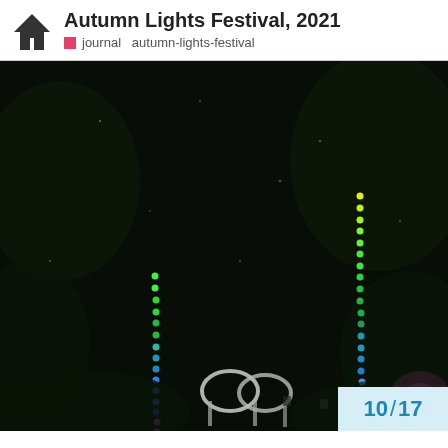Autumn Lights Festival, 2021
journal   autumn-lights-festival
[Figure (photo): Night photograph from the Autumn Lights Festival 2021 showing two vertical strings of multicolored LED lights (rainbow gradient from green to blue to purple) hanging from trees against a dark background, with a metallic sculpture visible at the bottom center of the image.]
10 / 17